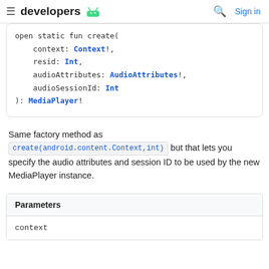developers  Sign in
open static fun create(
    context: Context!,
    resid: Int,
    audioAttributes: AudioAttributes!,
    audioSessionId: Int
): MediaPlayer!
Same factory method as create(android.content.Context,int) but that lets you specify the audio attributes and session ID to be used by the new MediaPlayer instance.
| Parameters |
| --- |
| context |